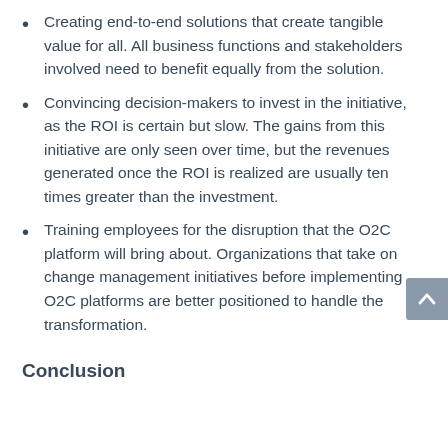Creating end-to-end solutions that create tangible value for all. All business functions and stakeholders involved need to benefit equally from the solution.
Convincing decision-makers to invest in the initiative, as the ROI is certain but slow. The gains from this initiative are only seen over time, but the revenues generated once the ROI is realized are usually ten times greater than the investment.
Training employees for the disruption that the O2C platform will bring about. Organizations that take on change management initiatives before implementing O2C platforms are better positioned to handle the transformation.
Conclusion